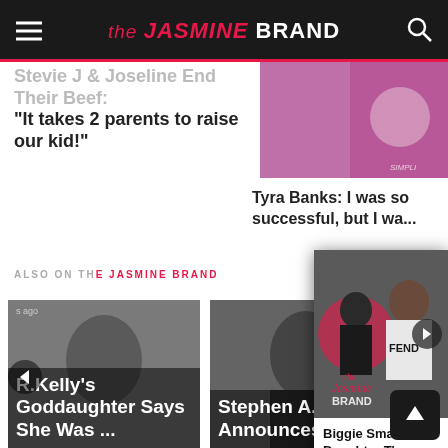the JASMINE BRAND
Stevie J & Joseline End Their Beef: “It takes 2 parents to raise our kid!”
[Figure (photo): Photo of woman in pink clothing, Simpli logo visible]
Tyra Banks: I was so successful but I wa...
[Figure (screenshot): The Jasmine Brand video popup showing a man and woman. Woman wearing Fendi t-shirt. Popup has brand logo, dots, X close, right arrow, and title: Biggie Smalls Daughter T'yanna Wallace Posts Boyfriend's $1 Million Dollar Bail Following H...]
ALSO ON TH...
[Figure (photo): R. Kelly's Goddaughter photo card]
R.Kelly’s Goddaughter Says She Was ...
[Figure (photo): Stephen A. Smith photo card]
Stephen A. Smith Announces ...